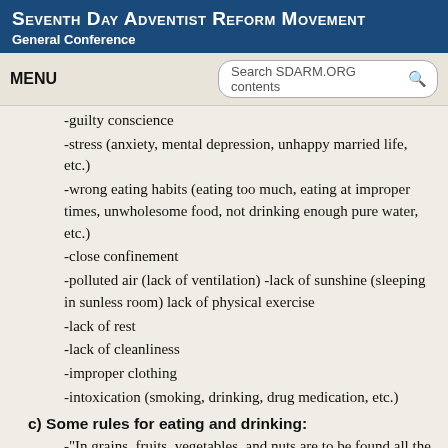Seventh Day Adventist Reform Movement General Conference
-guilty conscience
-stress (anxiety, mental depression, unhappy married life, etc.)
-wrong eating habits (eating too much, eating at improper times, unwholesome food, not drinking enough pure water, etc.)
-close confinement
-polluted air (lack of ventilation) -lack of sunshine (sleeping in sunless room) lack of physical exercise
-lack of rest
-lack of cleanliness
-improper clothing
-intoxication (smoking, drinking, drug medication, etc.)
c) Some rules for eating and drinking:
-"In grains, fruits, vegetables, and nuts are to be found all the food elements that we need." CD 310.